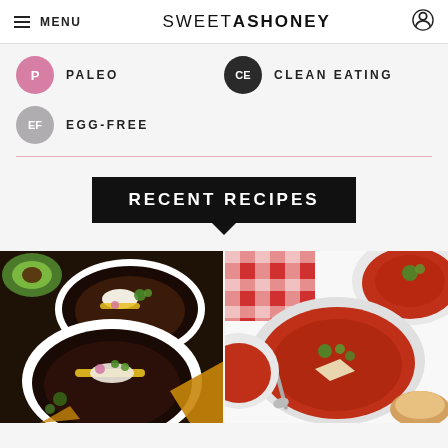MENU | SWEETASHONEY
P  PALEO
CE  CLEAN EATING
EF  EGG-FREE
RECENT RECIPES
[Figure (photo): Two white bowls of black bean chili topped with shredded cheese, sour cream, and cilantro, served with tortilla chips]
[Figure (photo): Three white bowls of tomato soup garnished with fresh herbs and parmesan, served with bread, on a red checkered cloth]